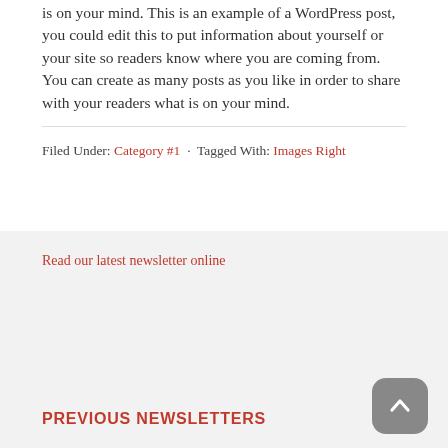is on your mind. This is an example of a WordPress post, you could edit this to put information about yourself or your site so readers know where you are coming from. You can create as many posts as you like in order to share with your readers what is on your mind.
Filed Under: Category #1 · Tagged With: Images Right
Read our latest newsletter online
PREVIOUS NEWSLETTERS